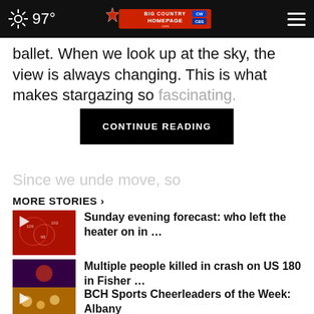97° Big Country Homepage
ballet. When we look up at the sky, the view is always changing. This is what makes stargazing so fascinating.
CONTINUE READING
Since we und… …e move, so
MORE STORIES ›
Sunday evening forecast: who left the heater on in …
Multiple people killed in crash on US 180 in Fisher …
BCH Sports Cheerleaders of the Week: Albany